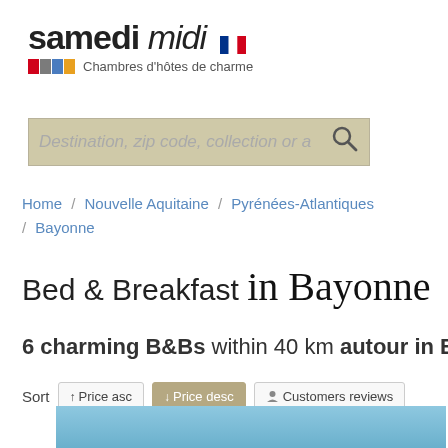samedi midi — Chambres d'hôtes de charme
[Figure (screenshot): Search input box with placeholder text 'Destination, zip code, collection or a' and a magnifying glass icon, on a tan/beige background]
Home / Nouvelle Aquitaine / Pyrénées-Atlantiques / Bayonne
Bed & Breakfast in Bayonne
6 charming B&Bs within 40 km autour in Bayonne
Sort   ↑Price asc   ↓Price desc   Customers reviews
[Figure (photo): Bottom strip showing a light blue sky image]